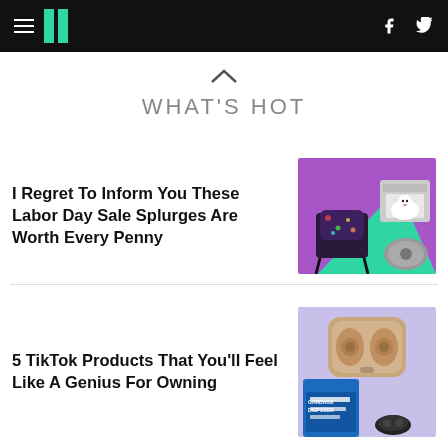HuffPost navigation header with hamburger menu, logo, Facebook and Twitter icons
WHAT'S HOT
I Regret To Inform You These Labor Day Sale Splurges Are Worth Every Penny
[Figure (photo): Product collage on purple/teal background showing a floral chair, a dog in a carrier, and a round robot vacuum]
5 TikTok Products That You'll Feel Like A Genius For Owning
[Figure (photo): Product image on light purple background showing gold wireless earbuds in case and Garbage Disposer product packaging]